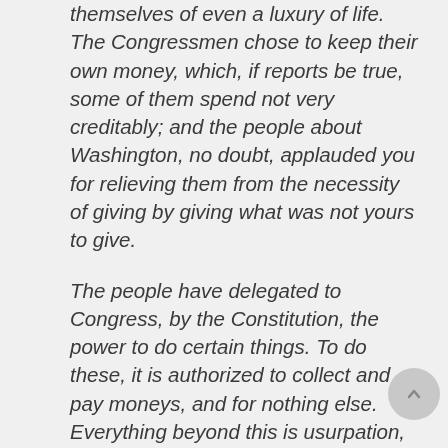themselves of even a luxury of life. The Congressmen chose to keep their own money, which, if reports be true, some of them spend not very creditably; and the people about Washington, no doubt, applauded you for relieving them from the necessity of giving by giving what was not yours to give.
The people have delegated to Congress, by the Constitution, the power to do certain things. To do these, it is authorized to collect and pay moneys, and for nothing else. Everything beyond this is usurpation, and a violation of the Constitution."
I have given you an imperfect account of what he said. Long before he was through, I was convinced that I had done wrong. He wound up by saying:
“So you see, Colonel, you have violated the Constitution in what I consider a vital point. It is a precedent fraught with danger to the country, for when Congress once begins to stretch its power